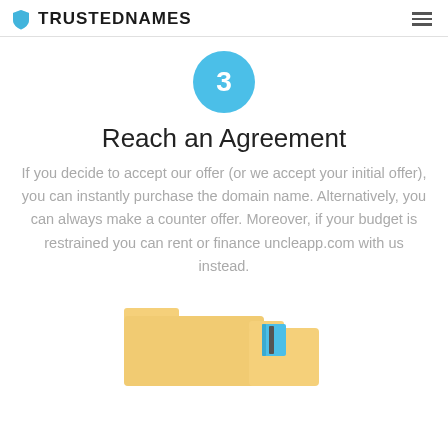TRUSTEDNAMES
[Figure (illustration): Step 3 circle badge with number 3 in blue]
Reach an Agreement
If you decide to accept our offer (or we accept your initial offer), you can instantly purchase the domain name. Alternatively, you can always make a counter offer. Moreover, if your budget is restrained you can rent or finance uncleapp.com with us instead.
[Figure (illustration): Illustration of folders/documents at the bottom of the page]